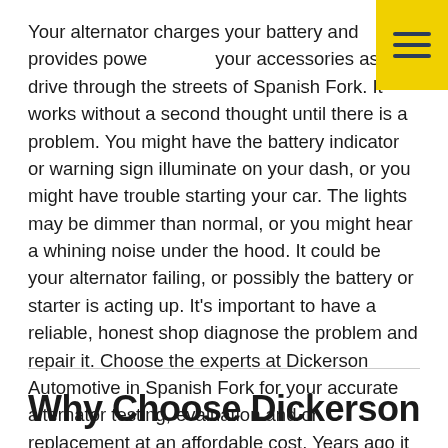[Figure (other): Yellow hamburger menu button in top-right corner with three dark navy horizontal lines]
Your alternator charges your battery and provides power your accessories as you drive through the streets of Spanish Fork. It works without a second thought until there is a problem. You might have the battery indicator or warning sign illuminate on your dash, or you might have trouble starting your car. The lights may be dimmer than normal, or you might hear a whining noise under the hood. It could be your alternator failing, or possibly the battery or starter is acting up. It's important to have a reliable, honest shop diagnose the problem and repair it. Choose the experts at Dickerson Automotive in Spanish Fork for your accurate alternator testing, evaluation and or replacement at an affordable cost. Years ago it was common to repair alternators, in today's age they are simply serviced as a unit.
Why Choose Dickerson